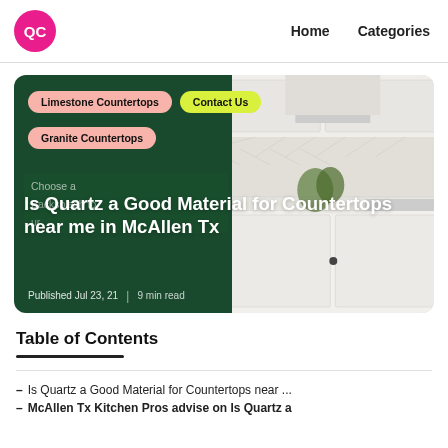QC | Home | Categories
[Figure (screenshot): Hero banner image showing a kitchen with white quartz countertops on the right half and a dark green overlay on the left half. Badges: 'Limestone Countertops', 'Contact Us', 'Granite Countertops'. Article title: 'Is Quartz a Good Material for Countertops near me in McAllen Tx'. Published Jul 23, 21 | 9 min read.]
Table of Contents
Is Quartz a Good Material for Countertops near ...
McAllen Tx Kitchen Pros advise on Is Quartz a